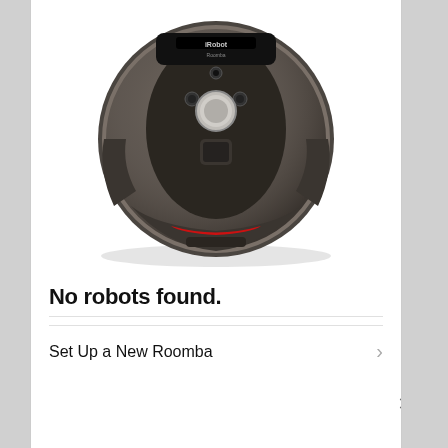[Figure (photo): Top-down view of an iRobot Roomba 980 robot vacuum cleaner, dark brown/grey metallic finish, showing the camera, clean button, and bumper with red accent stripe. iRobot Roomba logo on top panel.]
No robots found.
Set Up a New Roomba